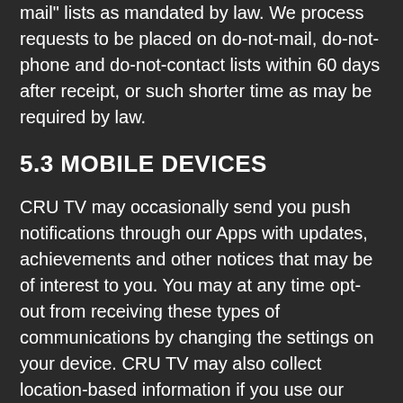"do not call" and "do not mail" lists as mandated by law. We process requests to be placed on do-not-mail, do-not-phone and do-not-contact lists within 60 days after receipt, or such shorter time as may be required by law.
5.3 MOBILE DEVICES
CRU TV may occasionally send you push notifications through our Apps with updates, achievements and other notices that may be of interest to you. You may at any time opt-out from receiving these types of communications by changing the settings on your device. CRU TV may also collect location-based information if you use our Apps. You may opt-out of this collection by changing the settings on your